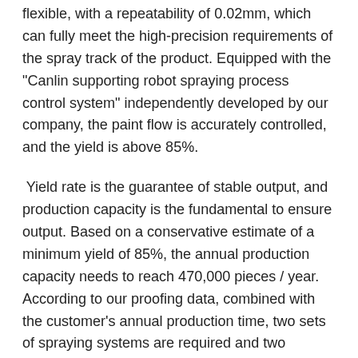flexible, with a repeatability of 0.02mm, which can fully meet the high-precision requirements of the spray track of the product. Equipped with the "Canlin supporting robot spraying process control system" independently developed by our company, the paint flow is accurately controlled, and the yield is above 85%.
Yield rate is the guarantee of stable output, and production capacity is the fundamental to ensure output. Based on a conservative estimate of a minimum yield of 85%, the annual production capacity needs to reach 470,000 pieces / year. According to our proofing data, combined with the customer's annual production time, two sets of spraying systems are required and two coatings and two bakings are performed at the same time to achieve the production capacity requirements.